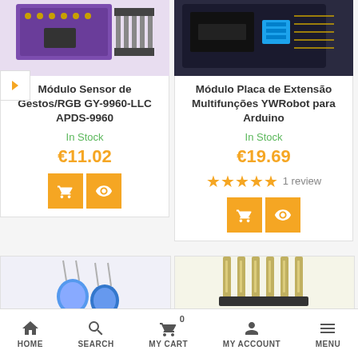[Figure (photo): Product photo of Módulo Sensor de Gestos/RGB GY-9960-LLC APDS-9960 electronics module on purple PCB with header pins]
Módulo Sensor de Gestos/RGB GY-9960-LLC APDS-9960
In Stock
€11.02
[Figure (photo): Product photo of Módulo Placa de Extensão Multifunções YWRobot para Arduino, dark PCB with blue humidity sensor module]
Módulo Placa de Extensão Multifunções YWRobot para Arduino
In Stock
€19.69
1 review
[Figure (photo): Partial product photo bottom left, blue LED or sensor component visible]
[Figure (photo): Partial product photo bottom right, metal header pins visible]
HOME   SEARCH   MY CART 0   MY ACCOUNT   MENU